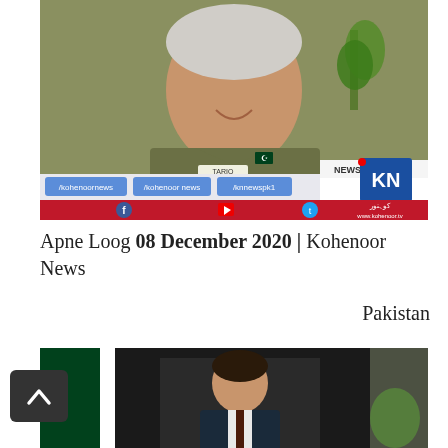[Figure (screenshot): Video thumbnail showing a Pakistani police officer in olive uniform with name tag 'TARIQ', white hair, smiling. Below the officer image is a Kohenoor News TV lower-third banner with social media handles: /kohenoornews, /kohenoor news, /knnewspk1, KN News logo, Facebook, YouTube, Twitter icons, and www.kohenoor.tv]
Apne Loog 08 December 2020 | Kohenoor News Pakistan
[Figure (screenshot): Partial video thumbnail showing a person in a suit sitting at a desk with a Pakistani flag in the background, partially cut off at the bottom of the page.]